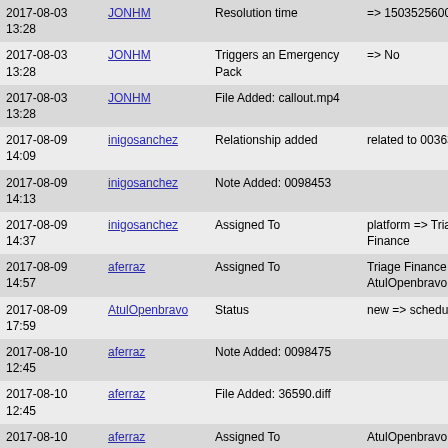| Date | User | Action | Details |
| --- | --- | --- | --- |
| 2017-08-03 13:28 | JONHM | Resolution time | => 1503525600 |
| 2017-08-03 13:28 | JONHM | Triggers an Emergency Pack | => No |
| 2017-08-03 13:28 | JONHM | File Added: callout.mp4 |  |
| 2017-08-09 14:09 | inigosanchez | Relationship added | related to 0036392 |
| 2017-08-09 14:13 | inigosanchez | Note Added: 0098453 |  |
| 2017-08-09 14:37 | inigosanchez | Assigned To | platform => Triage Finance |
| 2017-08-09 14:57 | aferraz | Assigned To | Triage Finance => AtulOpenbravo |
| 2017-08-09 17:59 | AtulOpenbravo | Status | new => scheduled |
| 2017-08-10 12:45 | aferraz | Note Added: 0098475 |  |
| 2017-08-10 12:45 | aferraz | File Added: 36590.diff |  |
| 2017-08-10 12:46 | aferraz | Assigned To | AtulOpenbravo => platform |
| 2017-08-10 12:47 | aferraz | Note Edited: 0098475 | View Revisions |
| 2017-08-11 14:25 | inigosanchez | Note Edited: 0098475 | View Revisions |
| 2017-08-18 12:54 | inigosanchez | Note Added: 0098542 |  |
| 2017-08-18 ... |  | File Added: ... |  |